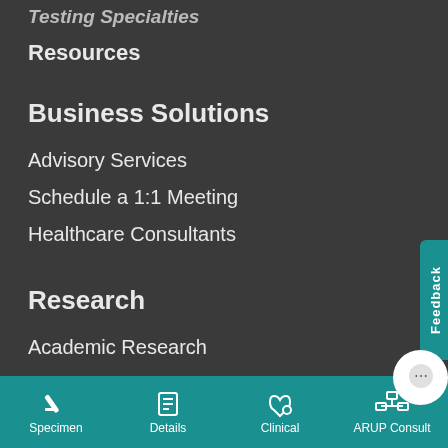Testing Specialties
Resources
Business Solutions
Advisory Services
Schedule a 1:1 Meeting
Healthcare Consultants
Research
Academic Research
Pharma Services
Research Histology
Specimen  Details  Clinical  ARUP Consult